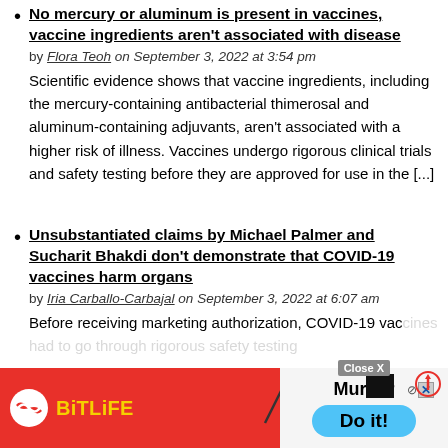No mercury or aluminum is present in vaccines, vaccine ingredients aren't associated with disease
by Flora Teoh on September 3, 2022 at 3:54 pm
Scientific evidence shows that vaccine ingredients, including the mercury-containing antibacterial thimerosal and aluminum-containing adjuvants, aren't associated with a higher risk of illness. Vaccines undergo rigorous clinical trials and safety testing before they are approved for use in the [...]
Unsubstantiated claims by Michael Palmer and Sucharit Bhakdi don't demonstrate that COVID-19 vaccines harm organs
by Iria Carballo-Carbajal on September 3, 2022 at 6:07 am
Before receiving marketing authorization, COVID-19 vaccines [ad overlay obscures rest]
[Figure (screenshot): BitLife mobile ad overlay at the bottom of the page with 'Murder Do it!' text, close button, and X button]